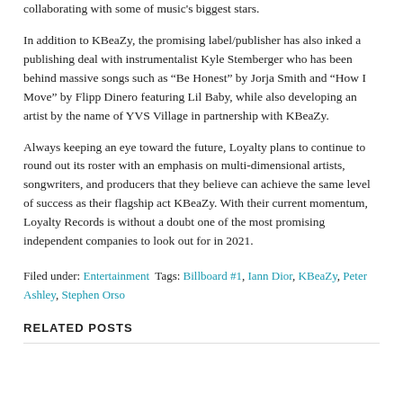collaborating with some of music's biggest stars.
In addition to KBeaZy, the promising label/publisher has also inked a publishing deal with instrumentalist Kyle Stemberger who has been behind massive songs such as “Be Honest” by Jorja Smith and “How I Move” by Flipp Dinero featuring Lil Baby, while also developing an artist by the name of YVS Village in partnership with KBeaZy.
Always keeping an eye toward the future, Loyalty plans to continue to round out its roster with an emphasis on multi-dimensional artists, songwriters, and producers that they believe can achieve the same level of success as their flagship act KBeaZy. With their current momentum, Loyalty Records is without a doubt one of the most promising independent companies to look out for in 2021.
Filed under: Entertainment Tags: Billboard #1, Iann Dior, KBeaZy, Peter Ashley, Stephen Orso
RELATED POSTS